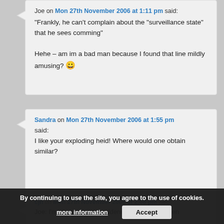Joe on Mon 27th November 2006 at 1:11 pm said: “Frankly, he can’t complain about the “surveillance state” that he sees comming” Hehe – am im a bad man because I found that line mildly amusing? 😃
Sandra on Mon 27th November 2006 at 1:55 pm said: I like your exploding heid! Where would one obtain similar?
cjh on Mon 27th November 2006 at 2:08 pm said: Joe: I’m shocked, and saddened, that I didn’t even
By continuing to use the site, you agree to the use of cookies. more information  Accept